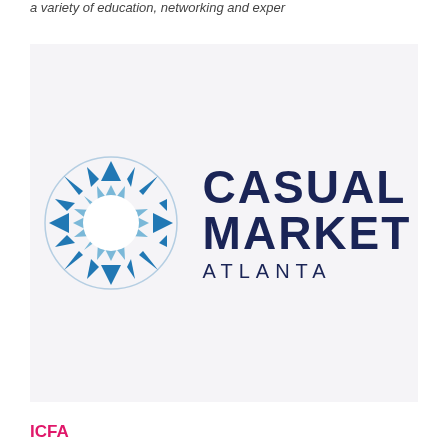a variety of education, networking and exper
[Figure (logo): Casual Market Atlanta logo: a circular sunburst/diamond pattern in blue and light blue on the left, with 'CASUAL MARKET' in large dark navy bold text and 'ATLANTA' in spaced navy text on the right, on a light gray background.]
ICFA